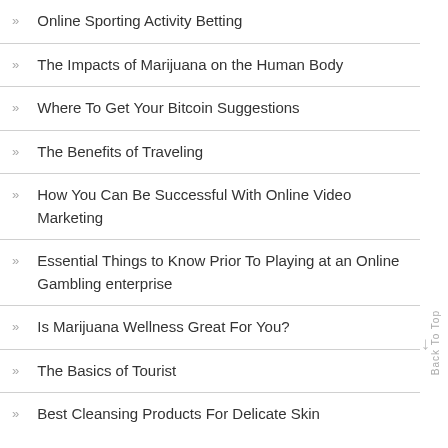Online Sporting Activity Betting
The Impacts of Marijuana on the Human Body
Where To Get Your Bitcoin Suggestions
The Benefits of Traveling
How You Can Be Successful With Online Video Marketing
Essential Things to Know Prior To Playing at an Online Gambling enterprise
Is Marijuana Wellness Great For You?
The Basics of Tourist
Best Cleansing Products For Delicate Skin